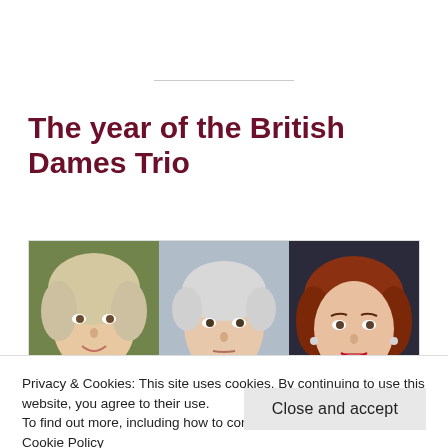The year of the British Dames Trio
[Figure (photo): Three portrait photos side by side: an older blonde woman, a short-haired woman, and a red-haired woman with red lipstick]
Privacy & Cookies: This site uses cookies. By continuing to use this website, you agree to their use. To find out more, including how to control cookies, see here: Cookie Policy
Close and accept
Pin on allowed in their roles in Quartet,